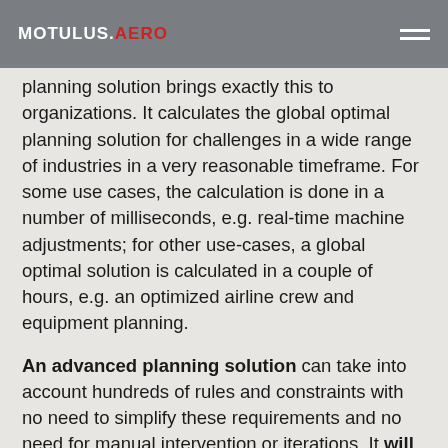MOTULUS.AERO
planning solution brings exactly this to organizations. It calculates the global optimal planning solution for challenges in a wide range of industries in a very reasonable timeframe. For some use cases, the calculation is done in a number of milliseconds, e.g. real-time machine adjustments; for other use-cases, a global optimal solution is calculated in a couple of hours, e.g. an optimized airline crew and equipment planning.
An advanced planning solution can take into account hundreds of rules and constraints with no need to simplify these requirements and no need for manual intervention or iterations. It will improve efficiency, assure cost